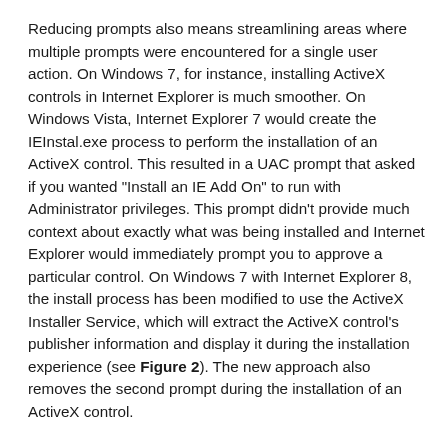Reducing prompts also means streamlining areas where multiple prompts were encountered for a single user action. On Windows 7, for instance, installing ActiveX controls in Internet Explorer is much smoother. On Windows Vista, Internet Explorer 7 would create the IEInstal.exe process to perform the installation of an ActiveX control. This resulted in a UAC prompt that asked if you wanted "Install an IE Add On" to run with Administrator privileges. This prompt didn't provide much context about exactly what was being installed and Internet Explorer would immediately prompt you to approve a particular control. On Windows 7 with Internet Explorer 8, the install process has been modified to use the ActiveX Installer Service, which will extract the ActiveX control's publisher information and display it during the installation experience (see Figure 2). The new approach also removes the second prompt during the installation of an ActiveX control.